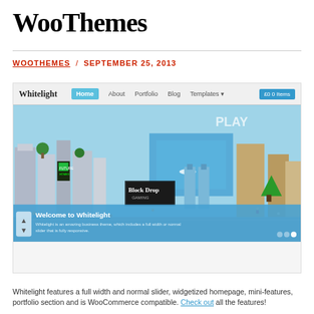WooThemes
WOOTHEMES / SEPTEMBER 25, 2013
[Figure (screenshot): Screenshot of the Whitelight WordPress theme demo page showing a pixel-art city hero image with navigation bar (Home, About, Portfolio, Blog, Templates) and a Welcome to Whitelight overlay banner.]
Whitelight features a full width and normal slider, widgetized homepage, mini-features, portfolio section and is WooCommerce compatible. Check out all the features!